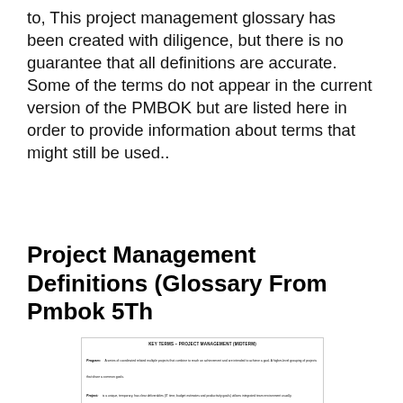to, This project management glossary has been created with diligence, but there is no guarantee that all definitions are accurate. Some of the terms do not appear in the current version of the PMBOK but are listed here in order to provide information about terms that might still be used..
Project Management Definitions (Glossary From Pmbok 5Th
[Figure (screenshot): Thumbnail image of a document page titled 'KEY TERMS – PROJECT MANAGEMENT (MIDTERM)' listing key project management terms and definitions including Program, Project, Project life cycle, Project Management Professional (PMP), Implementation gap, and Net present value.]